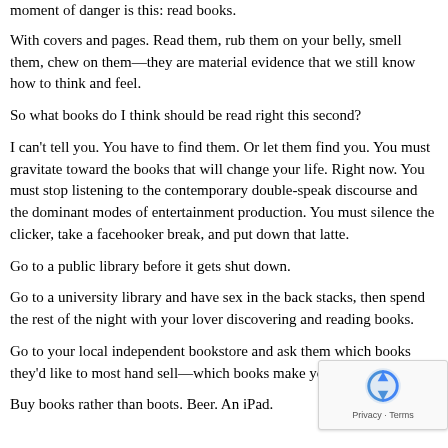moment of danger is this: read books.
With covers and pages. Read them, rub them on your belly, smell them, chew on them—they are material evidence that we still know how to think and feel.
So what books do I think should be read right this second?
I can't tell you. You have to find them. Or let them find you. You must gravitate toward the books that will change your life. Right now. You must stop listening to the contemporary double-speak discourse and the dominant modes of entertainment production. You must silence the clicker, take a facehooker break, and put down that latte.
Go to a public library before it gets shut down.
Go to a university library and have sex in the back stacks, then spend the rest of the night with your lover discovering and reading books.
Go to your local independent bookstore and ask them which books they'd like to most hand sell—which books make you feel ali…
Buy books rather than boots. Beer. An iPad.